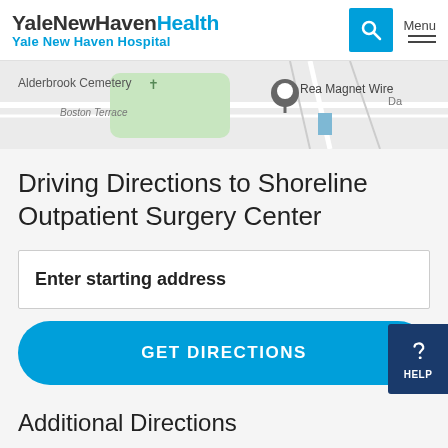YaleNewHavenHealth Yale New Haven Hospital
[Figure (map): Google Maps partial view showing Alderbrook Cemetery, Boston Terrace, Rea Magnet Wire location pin, and surrounding streets]
Driving Directions to Shoreline Outpatient Surgery Center
Enter starting address
GET DIRECTIONS
Additional Directions